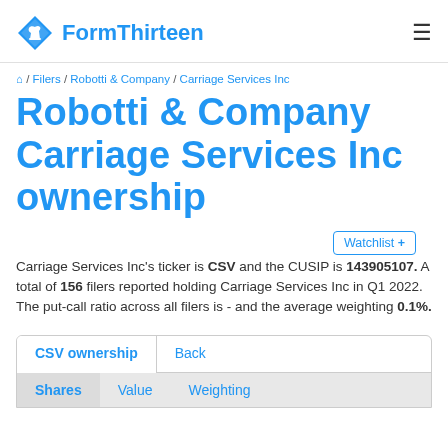FormThirteen
/ Filers / Robotti & Company / Carriage Services Inc
Robotti & Company Carriage Services Inc ownership
Watchlist +
Carriage Services Inc's ticker is CSV and the CUSIP is 143905107. A total of 156 filers reported holding Carriage Services Inc in Q1 2022. The put-call ratio across all filers is - and the average weighting 0.1%.
CSV ownership | Back
Shares | Value | Weighting